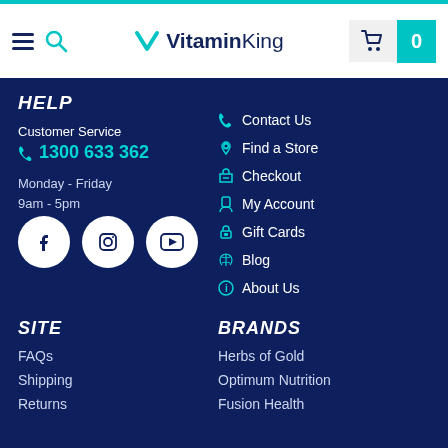VitaminKing header with hamburger menu, search, logo, and cart (0)
HELP
Customer Service
1300 633 362
Monday - Friday
9am - 5pm
[Figure (illustration): Social media icons: Facebook, Instagram, YouTube in white circles]
Contact Us
Find a Store
Checkout
My Account
Gift Cards
Blog
About Us
SITE
FAQs
Shipping
Returns
BRANDS
Herbs of Gold
Optimum Nutrition
Fusion Health